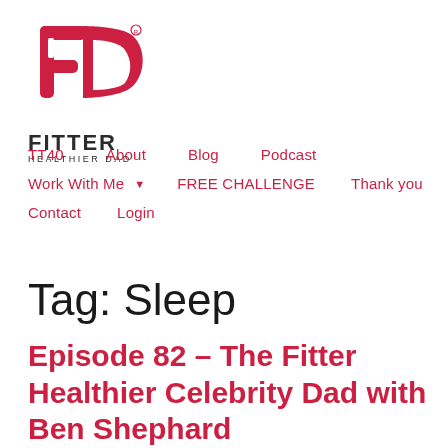[Figure (logo): Fitter Healthier Dad logo — red stylized FHD letters with FITTER HEALTHIER DAD text below]
TT40   About   Blog   Podcast   Work With Me ▼   FREE CHALLENGE   Thank you   Contact   Login
Tag: Sleep
Episode 82 – The Fitter Healthier Celebrity Dad with Ben Shephard